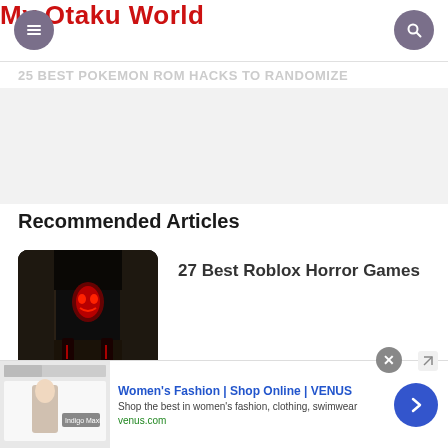My Otaku World
25 Best Pokemon ROM Hacks To Randomize
Recommended Articles
[Figure (screenshot): Thumbnail for 27 Best Roblox Horror Games: dark horror game scene with red glowing face and tall figures in a corridor]
27 Best Roblox Horror Games
[Figure (screenshot): Ad banner: Women's Fashion | Shop Online | VENUS. Shop the best in women's fashion, clothing, swimwear. venus.com]